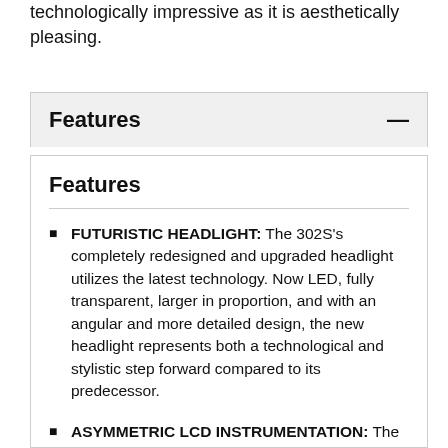technologically impressive as it is aesthetically pleasing.
Features
Features
FUTURISTIC HEADLIGHT: The 302S's completely redesigned and upgraded headlight utilizes the latest technology. Now LED, fully transparent, larger in proportion, and with an angular and more detailed design, the new headlight represents both a technological and stylistic step forward compared to its predecessor.
ASYMMETRIC LCD INSTRUMENTATION: The fully LCD digital display has upgraded functionality and a free-spirited design. Easier to read than the semi-liquid crystal, semi-mechanical design of the TNT 300, it also includes several new functions, including a mileage display that freely switches from mile to kilometer, gear display, and time display, allowing for smarter